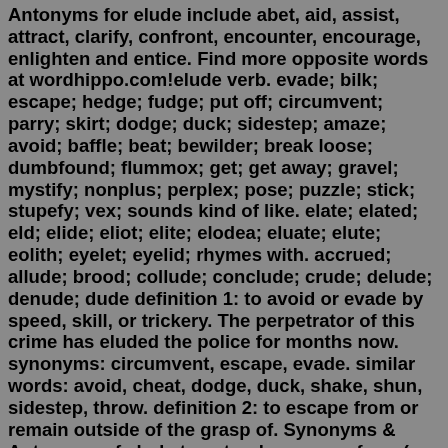Antonyms for elude include abet, aid, assist, attract, clarify, confront, encounter, encourage, enlighten and entice. Find more opposite words at wordhippo.com!elude verb. evade; bilk; escape; hedge; fudge; put off; circumvent; parry; skirt; dodge; duck; sidestep; amaze; avoid; baffle; beat; bewilder; break loose; dumbfound; flummox; get; get away; gravel; mystify; nonplus; perplex; pose; puzzle; stick; stupefy; vex; sounds kind of like. elate; elated; eld; elide; eliot; elite; elodea; eluate; elute; eolith; eyelet; eyelid; rhymes with. accrued; allude; brood; collude; conclude; crude; delude; denude; dude definition 1: to avoid or evade by speed, skill, or trickery. The perpetrator of this crime has eluded the police for months now. synonyms: circumvent, escape, evade. similar words: avoid, cheat, dodge, duck, shake, shun, sidestep, throw. definition 2: to escape from or remain outside of the grasp of. Synonyms & Antonyms of elude to get or keep away from (as a responsibility) through cleverness or trickery the millionaire had been eluding his fair share of taxes for